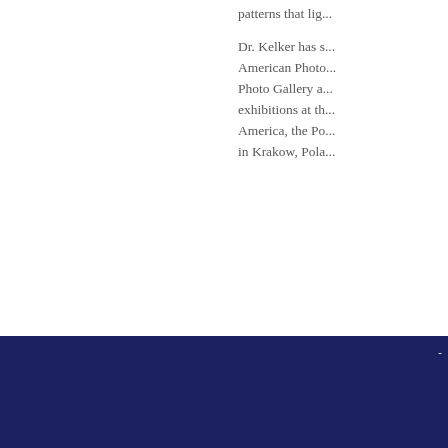patterns that lig...
Dr. Kelker has s... American Photo... Photo Gallery a... exhibitions at th... America, the Po... in Krakow, Pola...